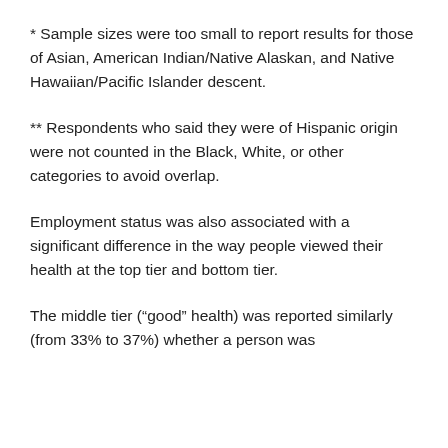* Sample sizes were too small to report results for those of Asian, American Indian/Native Alaskan, and Native Hawaiian/Pacific Islander descent.
** Respondents who said they were of Hispanic origin were not counted in the Black, White, or other categories to avoid overlap.
Employment status was also associated with a significant difference in the way people viewed their health at the top tier and bottom tier.
The middle tier (“good” health) was reported similarly (from 33% to 37%) whether a person was